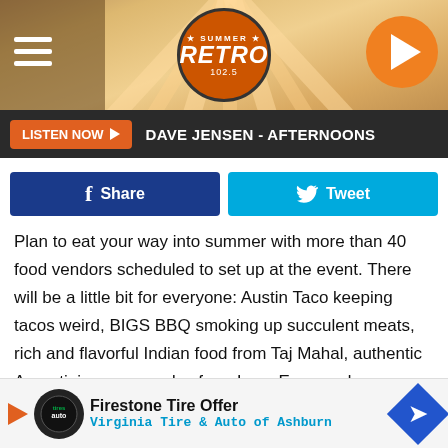[Figure (screenshot): Retro radio station website header with circular RETRO logo, play button, hamburger menu, sunburst background]
LISTEN NOW ▶  DAVE JENSEN - AFTERNOONS
[Figure (screenshot): Facebook Share button (dark blue) and Twitter Tweet button (light blue)]
Plan to eat your way into summer with more than 40 food vendors scheduled to set up at the event. There will be a little bit for everyone: Austin Taco keeping tacos weird, BIGS BBQ smoking up succulent meats, rich and flavorful Indian food from Taj Mahal, authentic Argentinian empanadas from Lazo Empanadas, Belgian-style waffles from Waffle Lab, Asian cuisine and ninja bowls from Umami, tasty vegan foods from Silver Seed and of course giant grilled turkey legs — [opportunity] to feas[t on all of these amazing food]s.
[Figure (screenshot): Firestone Tire Offer advertisement banner - Virginia Tire & Auto of Ashburn with logo and blue diamond navigation icon]